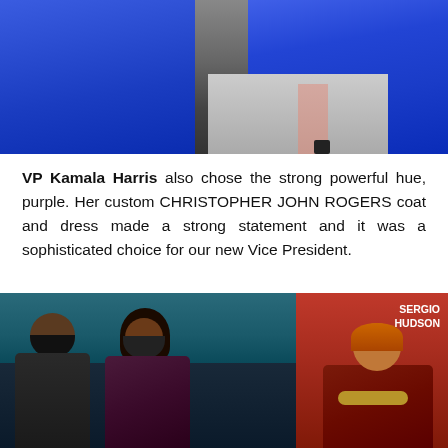[Figure (photo): Photo showing blue coats/dresses from the inauguration, partial view of legs and steps]
VP Kamala Harris also chose the strong powerful hue, purple. Her custom CHRISTOPHER JOHN ROGERS coat and dress made a strong statement and it was a sophisticated choice for our new Vice President.
[Figure (photo): Split photo: left side shows Barack Obama and Michelle Obama wearing masks at the inauguration; right side shows a model in a Sergio Hudson burgundy/wine-colored outfit on a red runway background with 'SERGIO HUDSON' label]